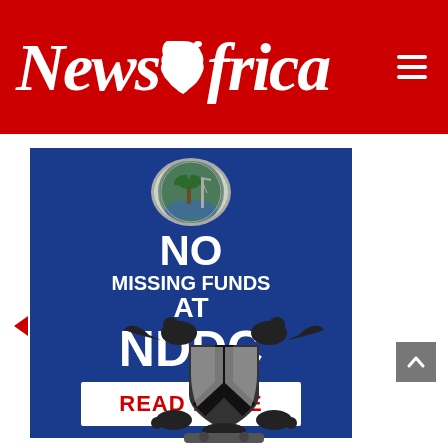NewsAfrica
[Figure (infographic): Blue banner with NDDC emblem at top, text 'NO MISSING FUNDS AT NDDC' and a 'READ MORE' button on white rectangle. Background is dark blue.]
[Figure (illustration): Nigeria coat of arms in black and white, showing two eagles, shield with black stripes, and flowers at base.]